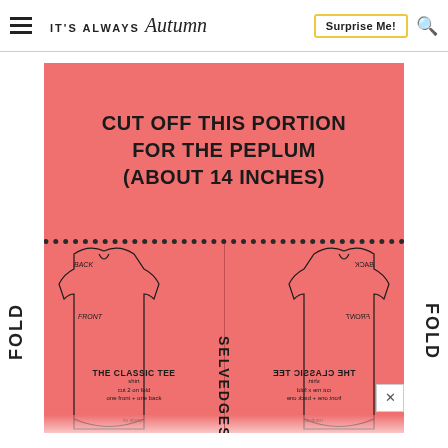IT'S ALWAYS Autumn | Surprise Me! [search]
[Figure (illustration): Sewing pattern layout on pink background showing two halves of 'The Classic Tee' shirt pattern. Top half labeled 'CUT OFF THIS PORTION FOR THE PEPLUM (ABOUT 14 INCHES)' with dotted cut line. Bottom half shows front and back shirt pattern pieces with 'FOLD' labels on sides and 'SELVEDGES' at center bottom. Right panel is mirrored. Labels: BACK, FRONT on left; mirrored on right.]